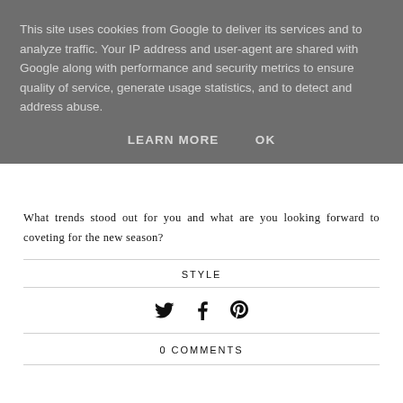This site uses cookies from Google to deliver its services and to analyze traffic. Your IP address and user-agent are shared with Google along with performance and security metrics to ensure quality of service, generate usage statistics, and to detect and address abuse.
LEARN MORE   OK
What trends stood out for you and what are you looking forward to coveting for the new season?
STYLE
[Figure (infographic): Social sharing icons: Twitter bird, Facebook f, Pinterest p]
0 COMMENTS